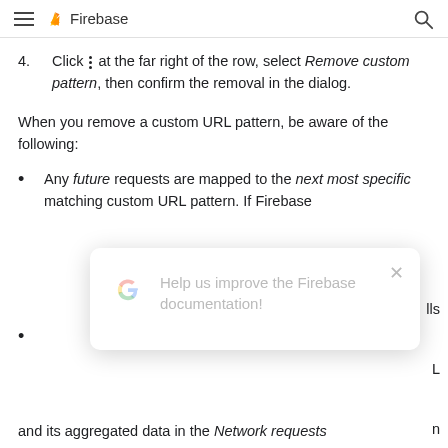Firebase
4. Click ⋮ at the far right of the row, select Remove custom pattern, then confirm the removal in the dialog.
When you remove a custom URL pattern, be aware of the following:
Any future requests are mapped to the next most specific matching custom URL pattern. If Firebase Hosting falls back to serving the URL pattern...
(partially visible behind modal) ...and its aggregated data in the Network requests
[Figure (screenshot): Modal dialog overlay with Google G logo and text 'Help us improve the Firebase documentation!' with a close X button]